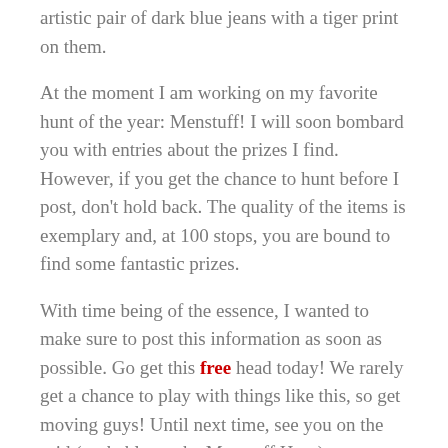artistic pair of dark blue jeans with a tiger print on them.
At the moment I am working on my favorite hunt of the year: Menstuff! I will soon bombard you with entries about the prizes I find. However, if you get the chance to hunt before I post, don't hold back. The quality of the items is exemplary and, at 100 stops, you are bound to find some fantastic prizes.
With time being of the essence, I wanted to make sure to post this information as soon as possible. Go get this free head today! We rarely get a chance to play with things like this, so get moving guys! Until next time, see you on the grid (probably on the Menstuff Hunt).——WHC Riler
WHC is showing...
———————